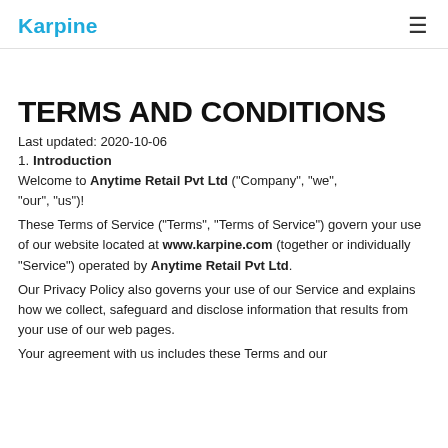Karpine
TERMS AND CONDITIONS
Last updated: 2020-10-06
1. Introduction
Welcome to Anytime Retail Pvt Ltd ("Company", "we", "our", "us")!
These Terms of Service ("Terms", "Terms of Service") govern your use of our website located at www.karpine.com (together or individually "Service") operated by Anytime Retail Pvt Ltd.
Our Privacy Policy also governs your use of our Service and explains how we collect, safeguard and disclose information that results from your use of our web pages.
Your agreement with us includes these Terms and our...